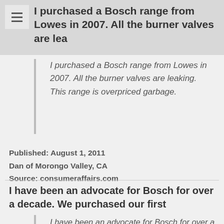I purchased a Bosch range from Lowes in 2007. All the burner valves are lea
I purchased a Bosch range from Lowes in 2007. All the burner valves are leaking. This range is overpriced garbage.
Published: August 1, 2011
Dan of Morongo Valley, CA
Source: consumeraffairs.com
I have been an advocate for Bosch for over a decade. We purchased our first
I have been an advocate for Bosch for over a decade. We purchased our first dishwasher in 2008 and it was awesome. I cant tell you how many people I referred to purchase Bosch products. We recently purchased a new dishwasher in mid-2015 (SHY68T55UC-24-800...